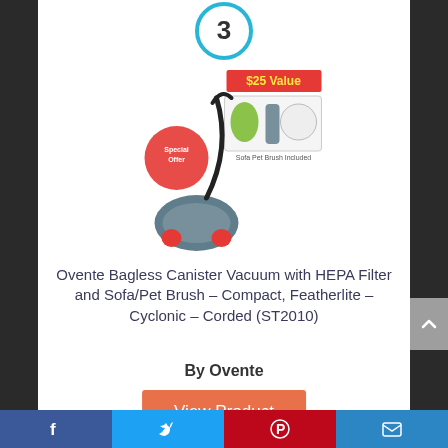[Figure (other): Circular badge with number 3 in blue outline circle]
[Figure (photo): Ovente Bagless Canister Vacuum product photo with '$25 Value' promotional badge and accessories shown]
Ovente Bagless Canister Vacuum with HEPA Filter and Sofa/Pet Brush – Compact, Featherlite – Cyclonic – Corded (ST2010)
By Ovente
View Product
9.1 ✓